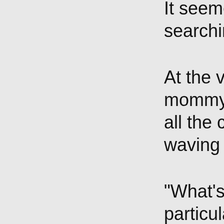It seemed as if searching for S
At the very end mommy noticed all the children waving a hand
"What's Granny particular. "She kitten."
So Suzi's mom Granny Dear's As they got clo